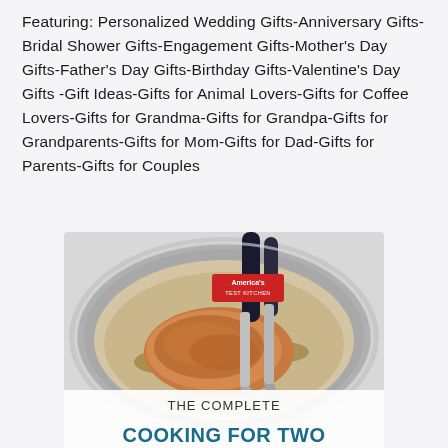Featuring: Personalized Wedding Gifts-Anniversary Gifts-Bridal Shower Gifts-Engagement Gifts-Mother's Day Gifts-Father's Day Gifts-Birthday Gifts-Valentine's Day Gifts -Gift Ideas-Gifts for Animal Lovers-Gifts for Coffee Lovers-Gifts for Grandma-Gifts for Grandpa-Gifts for Grandparents-Gifts for Mom-Gifts for Dad-Gifts for Parents-Gifts for Couples
[Figure (photo): Book cover for 'The Complete Cooking for Two' by America's Test Kitchen, showing a chicken breast being cooked in a stainless steel pan with tongs, with the title text at the bottom.]